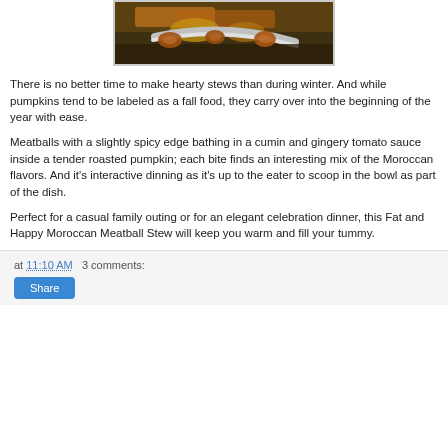[Figure (photo): Close-up photo of Moroccan meatball stew in a roasted pumpkin, showing meatballs in tomato sauce with a spoon/spatula visible, cropped at top of page]
There is no better time to make hearty stews than during winter. And while pumpkins tend to be labeled as a fall food, they carry over into the beginning of the year with ease.
Meatballs with a slightly spicy edge bathing in a cumin and gingery tomato sauce inside a tender roasted pumpkin; each bite finds an interesting mix of the Moroccan flavors. And it's interactive dinning as it's up to the eater to scoop in the bowl as part of the dish.
Perfect for a casual family outing or for an elegant celebration dinner, this Fat and Happy Moroccan Meatball Stew will keep you warm and fill your tummy.
at 11:10 AM   3 comments: